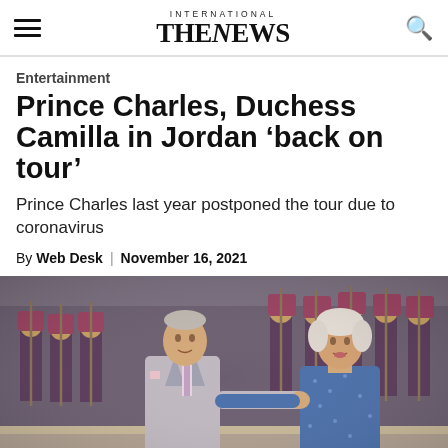INTERNATIONAL THE NEWS
Entertainment
Prince Charles, Duchess Camilla in Jordan 'back on tour'
Prince Charles last year postponed the tour due to coronavirus
By Web Desk | November 16, 2021
[Figure (photo): Prince Charles in a grey suit and Duchess Camilla in a blue dress walking together at a formal ceremony in Jordan, with a military guard of honour in traditional Jordanian uniform in the background.]